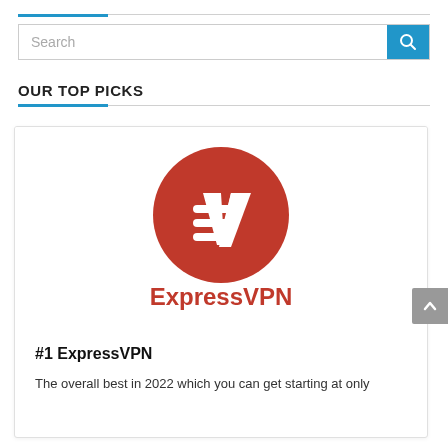OUR TOP PICKS
[Figure (logo): ExpressVPN logo: red circle with stylized 'e' and 'V' mark, with 'ExpressVPN' text in red below]
#1 ExpressVPN
The overall best in 2022 which you can get starting at only